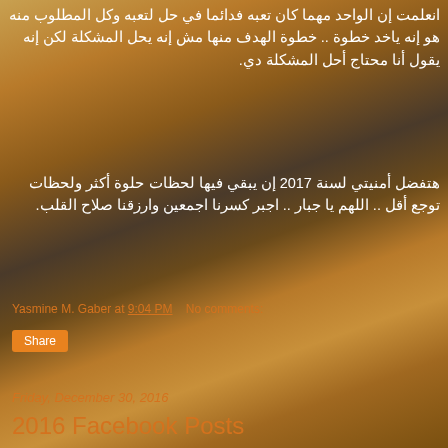[Figure (photo): Blurred macro photo background with warm orange, brown, and dark tones]
انعلمت إن الواحد مهما كان تعبه فدائما في حل لتعبه وكل المطلوب منه هو إنه ياخد خطوة .. خطوة الهدف منها مش إنه يحل المشكلة لكن إنه يقول أنا محتاج أحل المشكلة دي.
هتفضل أمنيتي لسنة 2017 إن يبقي فيها لحظات حلوة أكثر ولحظات توجع أقل .. اللهم يا جبار .. اجبر كسرنا اجمعين وارزقنا صلاح القلب.
Yasmine M. Gaber at 9:04 PM    No comments:
Share
Friday, December 30, 2016
2016 Facebook Posts